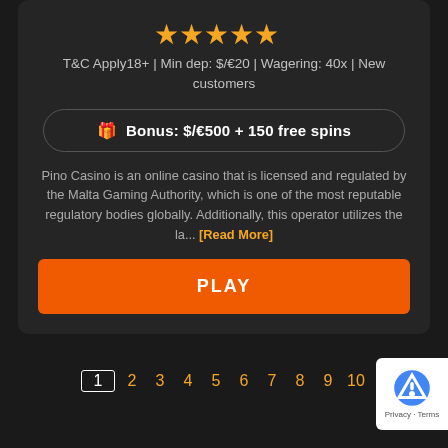[Figure (other): Five gold star rating icons]
T&C Apply18+ | Min dep: $/€20 | Wagering: 40x | New customers
🎁 Bonus: $/€500 + 150 free spins
Pino Casino is an online casino that is licensed and regulated by the Malta Gaming Authority, which is one of the most reputable regulatory bodies globally. Additionally, this operator utilizes the la... [Read More]
PLAY
1 2 3 4 5 6 7 8 9 10
[Figure (logo): Google reCAPTCHA badge with Privacy and Terms text]